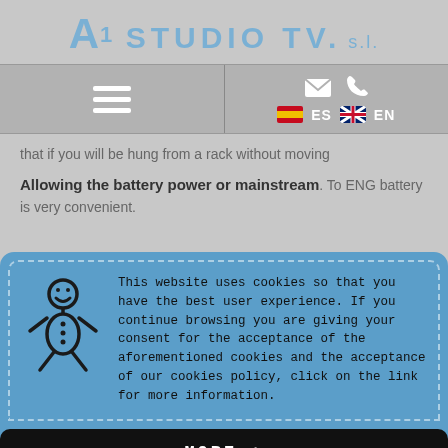A1 STUDIO TV. s.l.
[Figure (screenshot): Navigation bar with hamburger menu on left, envelope and phone icons on right, language flags ES and EN]
that if you will be hung from a rack without moving
Allowing the battery power or mainstream. To ENG battery is very convenient.
[Figure (infographic): Cookie consent overlay with gingerbread man icon and cookie policy text. This website uses cookies so that you have the best user experience. If you continue browsing you are giving your consent for the acceptance of the aforementioned cookies and the acceptance of our cookies policy, click on the link for more information.]
MORE +
OK